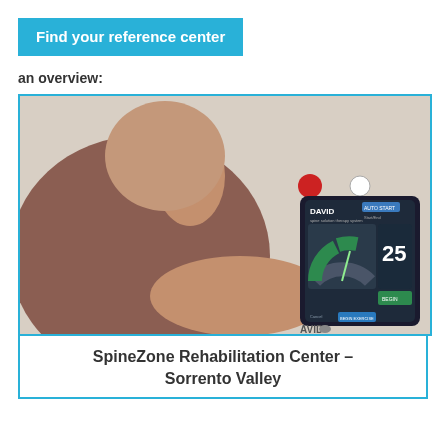Find your reference center
an overview:
[Figure (photo): Person looking at a DAVID rehabilitation device tablet screen showing a gauge/semicircle indicator displaying 25, with green segments. The device shows the DAVID brand interface with exercise controls.]
SpineZone Rehabilitation Center – Sorrento Valley